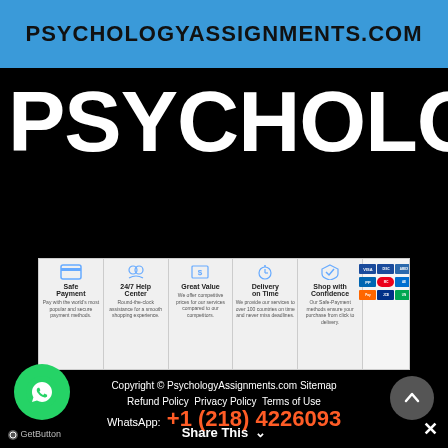PSYCHOLOGYASSIGNMENTS.COM
PSYCHOLOGYASS
[Figure (infographic): Features banner showing Safe Payment, 24/7 Help Center, Great Value, Delivery on Time, Shop with Confidence, and payment card logos]
Copyright © PsychologyAssignments.com Sitemap Refund Policy Privacy Policy Terms of Use
WhatsApp: +1 (218) 4226093
[Figure (logo): WhatsApp green circle button with phone icon]
GetButton
Share This
×